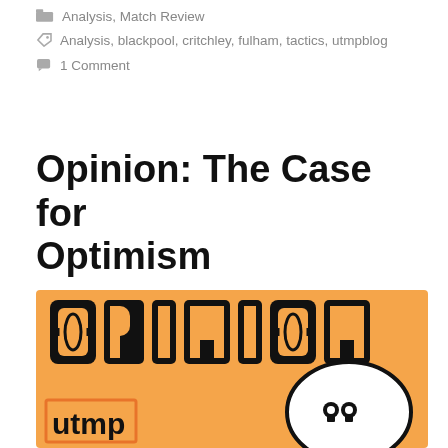Analysis, Match Review
Analysis, blackpool, critchley, fulham, tactics, utmpblog
1 Comment
Opinion: The Case for Optimism
[Figure (illustration): Orange background graphic with the word OPINION in bold stylized black lettering, a white speech bubble with quotation marks icon in the bottom right, and the utmp logo (text in an orange bracket) in the bottom left.]